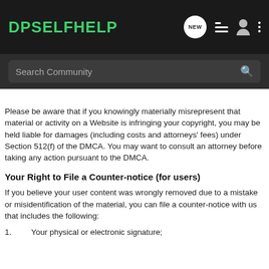DPSELFHELP
Please be aware that if you knowingly materially misrepresent that material or activity on a Website is infringing your copyright, you may be held liable for damages (including costs and attorneys' fees) under Section 512(f) of the DMCA. You may want to consult an attorney before taking any action pursuant to the DMCA.
Your Right to File a Counter-notice (for users)
If you believe your user content was wrongly removed due to a mistake or misidentification of the material, you can file a counter-notice with us that includes the following:
Your physical or electronic signature;